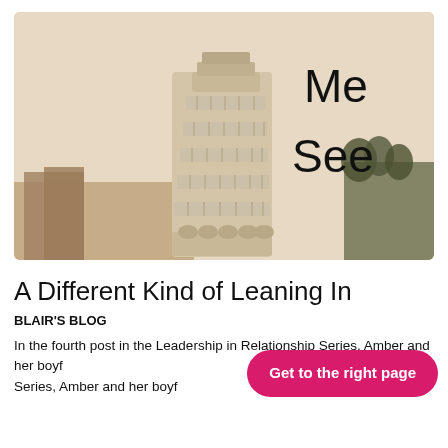[Figure (photo): Sepia-toned photo of the Leaning Tower of Pisa with text 'Me' and 'See' overlaid on the right side of the image against a pale sky background.]
A Different Kind of Leaning In
BLAIR'S BLOG
In the fourth post in the Leadership in Relationship Series, Amber and her boyf[riend use] principles to co-create a Rea[l...]
Get to the right page